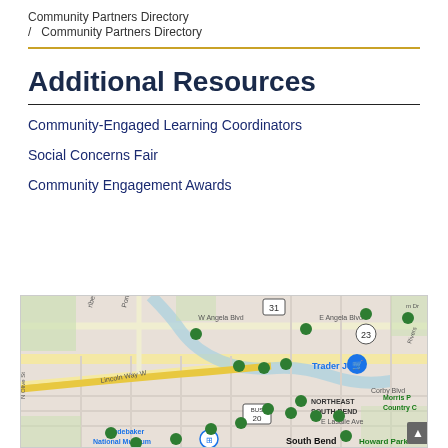Community Partners Directory
/ Community Partners Directory
Additional Resources
Community-Engaged Learning Coordinators
Social Concerns Fair
Community Engagement Awards
[Figure (map): Google Maps view of South Bend, Indiana area showing multiple green map pins marking community partner locations, including landmarks such as Trader Joe's, Studebaker National Museum, Howard Park, and Morris P Country C(lub). Streets visible include W Angela Blvd, E Angela Blvd, Lincoln Way W, E Lasalle Ave, Corby Blvd, N Olive St, Portage Ave, and route markers for 31, 23, BUS 20.]